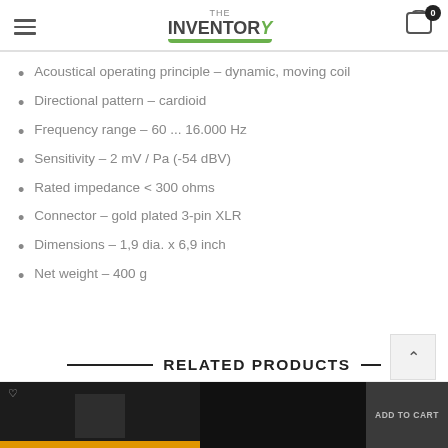THE INVENTORY — navigation header with hamburger menu and cart icon (0 items)
Acoustical operating principle – dynamic, moving coil
Directional pattern – cardioid
Frequency range – 60 ... 16.000 Hz
Sensitivity – 2 mV / Pa (-54 dBV)
Rated impedance < 300 ohms
Connector – gold plated 3-pin XLR
Dimensions – 1,9 dia. x 6,9 inch
Net weight – 400 g
RELATED PRODUCTS
[Figure (screenshot): Partial product thumbnails at bottom of page, two products partially visible]